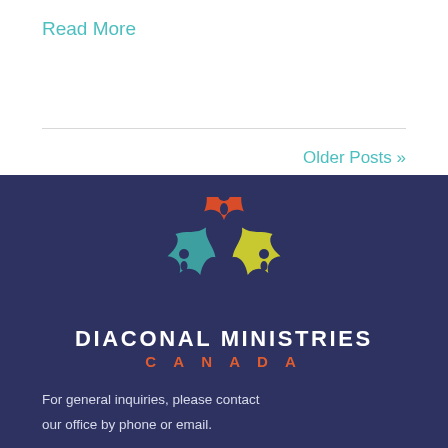Read More
Older Posts »
[Figure (logo): Diaconal Ministries Canada logo — three maple-leaf-shaped figures in red, teal, and yellow-green arranged in a triangle, representing people]
DIACONAL MINISTRIES CANADA
For general inquiries, please contact our office by phone or email.